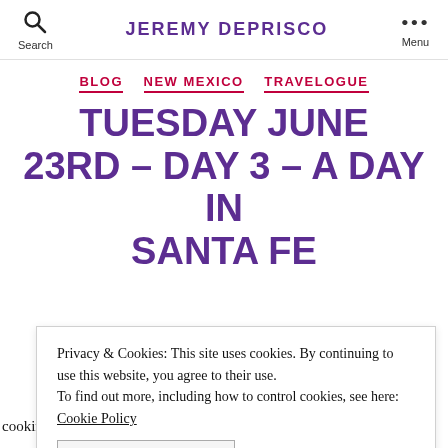JEREMY DEPRISCO
BLOG NEW MEXICO TRAVELOGUE
TUESDAY JUNE 23RD – DAY 3 – A DAY IN SANTA FE
Privacy & Cookies: This site uses cookies. By continuing to use this website, you agree to their use. To find out more, including how to control cookies, see here: Cookie Policy
CLOSE AND ACCEPT
cooking class, but he came along for the ride and hun